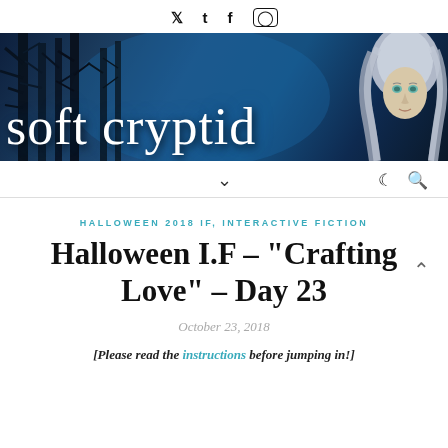social icons: twitter, tumblr, facebook, instagram
[Figure (illustration): Blog banner for 'soft cryptid' with dark blue forest background and illustrated face of a white-haired person on the right]
Navigation bar with dropdown chevron, moon icon, and search icon
HALLOWEEN 2018 IF, INTERACTIVE FICTION
Halloween I.F – “Crafting Love” – Day 23
October 23, 2018
[Please read the instructions before jumping in!]